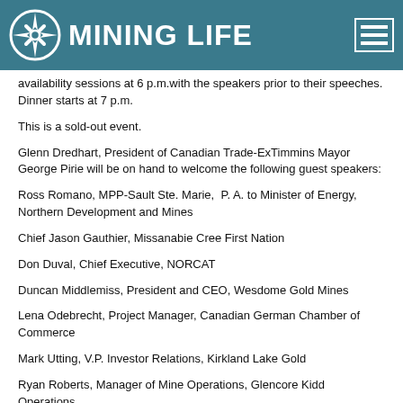MINING LIFE
availability sessions at 6 p.m.with the speakers prior to their speeches. Dinner starts at 7 p.m.
This is a sold-out event.
Glenn Dredhart, President of Canadian Trade-ExTimmins Mayor George Pirie will be on hand to welcome the following guest speakers:
Ross Romano, MPP-Sault Ste. Marie,  P. A. to Minister of Energy, Northern Development and Mines
Chief Jason Gauthier, Missanabie Cree First Nation
Don Duval, Chief Executive, NORCAT
Duncan Middlemiss, President and CEO, Wesdome Gold Mines
Lena Odebrecht, Project Manager, Canadian German Chamber of Commerce
Mark Utting, V.P. Investor Relations, Kirkland Lake Gold
Ryan Roberts, Manager of Mine Operations, Glencore Kidd Operations
Keiran Swanton, a member of the Canadian Institute of Mining (CIM) Porcupine Branch Board of Directors will serve as the emcee for the